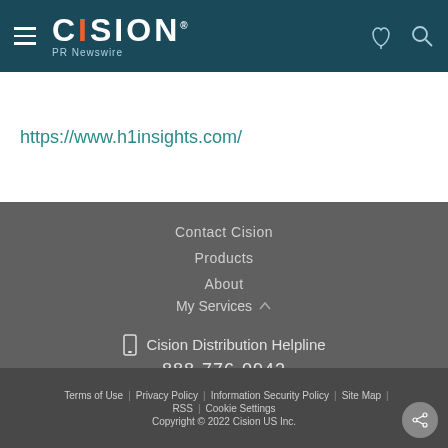CISION PR Newswire
https://www.h1insights.com/
Contact Cision
Products
About
My Services
Cision Distribution Helpline
888-776-0942
Terms of Use | Privacy Policy | Information Security Policy | Site Map | RSS | Cookie Settings
Copyright © 2022 Cision US Inc.